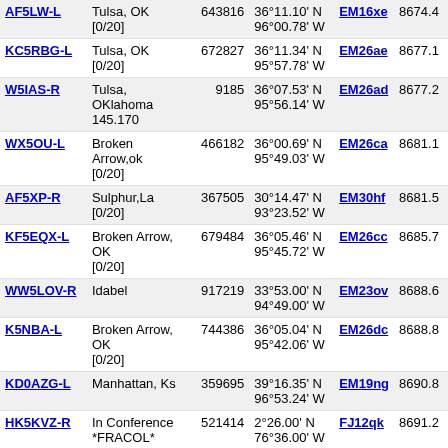| Callsign | Location | ID | Coordinates | Grid | Dist |
| --- | --- | --- | --- | --- | --- |
| AF5LW-L | Tulsa, OK [0/20] | 643816 | 36°11.10' N 96°00.78' W | EM16xe | 8674.4 |
| KC5RBG-L | Tulsa, OK [0/20] | 672827 | 36°11.34' N 95°57.78' W | EM26ae | 8677.1 |
| W5IAS-R | Tulsa, OKlahoma 145.170 | 9185 | 36°07.53' N 95°56.14' W | EM26ad | 8677.2 |
| WX5OU-L | Broken Arrow,ok [0/20] | 466182 | 36°00.69' N 95°49.03' W | EM26ca | 8681.1 |
| AF5XP-R | Sulphur,La [0/20] | 367505 | 30°14.47' N 93°23.52' W | EM30hf | 8681.5 |
| KF5EQX-L | Broken Arrow, OK [0/20] | 679484 | 36°05.46' N 95°45.72' W | EM26cc | 8685.7 |
| WW5LOV-R | Idabel | 917219 | 33°53.00' N 94°49.00' W | EM23ov | 8688.6 |
| K5NBA-L | Broken Arrow, OK [0/20] | 744386 | 36°05.04' N 95°42.06' W | EM26dc | 8688.8 |
| KD0AZG-L | Manhattan, Ks | 359695 | 39°16.35' N 96°53.24' W | EM19ng | 8690.8 |
| HK5KVZ-R | In Conference *FRACOL* | 521414 | 2°26.00' N 76°36.00' W | FJ12qk | 8691.2 |
| KC5JMJ-L | Lake Charles [0/20] | 388286 | 30°12.34' N 93°11.85' W | EM30je | 8691.5 |
| KI5SKI-R | lake charles,la [0/20] | 903055 | 30°12.34' N 93°11.85' W | EM30je | 8691.5 |
| W4NFD-R | 6M Rpt Porum,OK [0/20] | 393043 | 35°19.92' N 95°17.75' W | EM25ih | 8694.5 |